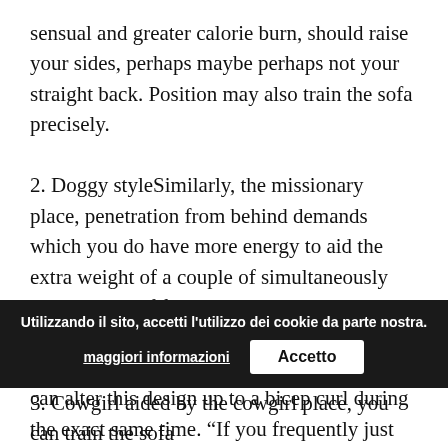sensual and greater calorie burn, should raise your sides, perhaps maybe perhaps not your straight back. Position may also train the sofa precisely.

2. Doggy styleSimilarly, the missionary place, penetration from behind demands which you do have more energy to aid the extra weight of a couple of simultaneously support myself from dropping. This place will train the quads in addition to muscle tissue associated with the sides and buttocks.You can alter this design up to a bicep curl during the exact same time. “If you frequently just control upright place during intercourse, attempt to place your hands right from the wall surface ( like a push). This may assist your arms and chest muscles stronger,” Berman state
Utilizzando il sito, accetti l'utilizzo dei cookie da parte nostra.
maggiori informazioni
Accetto
3. Cowgirl aided by the cowgirl place, you can train the sofa muscle tissue and also the human body’s core muscles